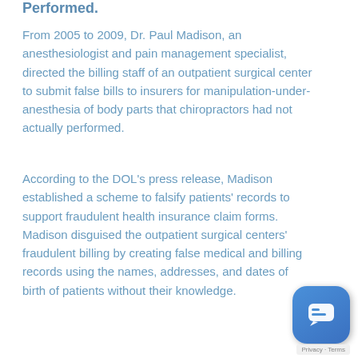Performed.
From 2005 to 2009, Dr. Paul Madison, an anesthesiologist and pain management specialist, directed the billing staff of an outpatient surgical center to submit false bills to insurers for manipulation-under-anesthesia of body parts that chiropractors had not actually performed.
According to the DOL's press release, Madison established a scheme to falsify patients' records to support fraudulent health insurance claim forms. Madison disguised the outpatient surgical centers' fraudulent billing by creating false medical and billing records using the names, addresses, and dates of birth of patients without their knowledge.